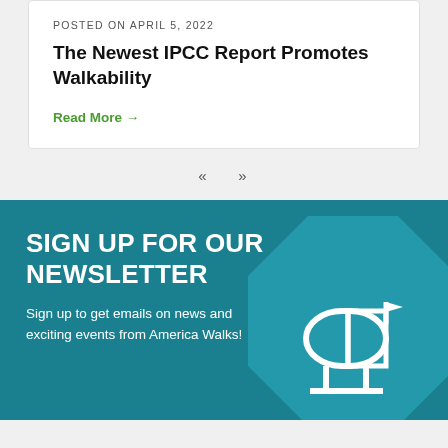POSTED ON APRIL 5, 2022
The Newest IPCC Report Promotes Walkability
Read More →
« »
SIGN UP FOR OUR NEWSLETTER
Sign up to get emails on news and exciting events from America Walks!
[Figure (illustration): Mailbox icon illustration in lighter teal on dark teal octagon background]